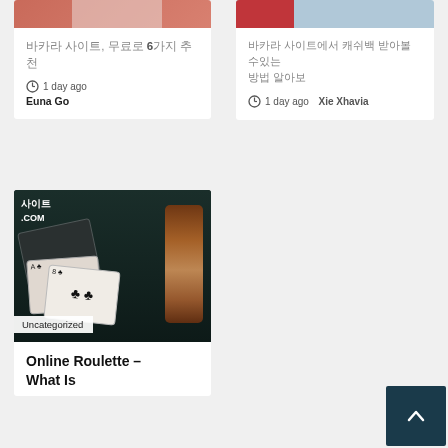[Figure (photo): Top-left card with reddish-brown/salmon colored header image; partially white overlay visible]
바카라 사이트, 무료로 6가지 추천
1 day ago  Euna Go
[Figure (photo): Top-right card with gray/blue colored header image with red element on left side]
바카라 사이트에서 캐쉬백 받아볼수있는 방법 알아보
1 day ago  Xie Xhavia
[Figure (photo): Dark photo of playing cards and casino chips on dark background with Korean text 사이트 .COM overlay and Uncategorized badge]
Online Roulette – What Is
Uncategorized